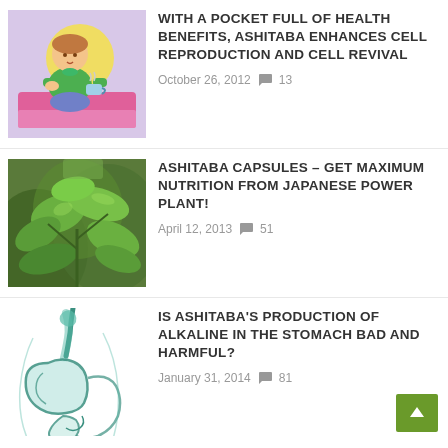[Figure (illustration): Colorful illustration of a woman in green holding a tea cup at a table]
WITH A POCKET FULL OF HEALTH BENEFITS, ASHITABA ENHANCES CELL REPRODUCTION AND CELL REVIVAL
October 26, 2012  💬 13
[Figure (photo): Photo of green ashitaba plant leaves outdoors]
ASHITABA CAPSULES – GET MAXIMUM NUTRITION FROM JAPANESE POWER PLANT!
April 12, 2013  💬 51
[Figure (illustration): Teal/green medical illustration of human digestive system]
IS ASHITABA'S PRODUCTION OF ALKALINE IN THE STOMACH BAD AND HARMFUL?
January 31, 2014  💬 81